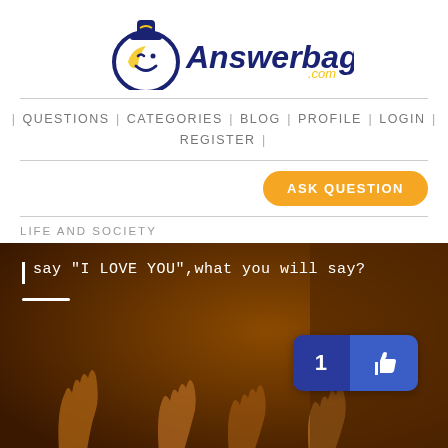[Figure (logo): Answerbag.com logo with winking face mascot in a bag shape, navy blue and yellow colors]
| QUESTIONS | CATEGORIES | BLOG | PROFILE | LOGIN | REGISTER |
ASK QUESTION
LIFE AND SOCIETY
[Figure (photo): Dark brown background with raised hands silhouettes and white text overlay reading: I say "I LOVE YOU",what you will say? with a like button showing count of 1]